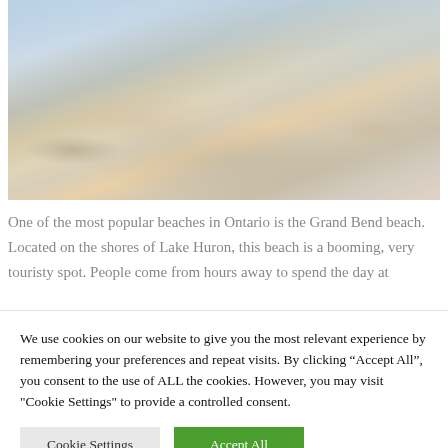[Figure (photo): Aerial or elevated view of a crowded beach with many people, umbrellas, and colorful items. The beach appears to be Grand Bend beach on Lake Huron, Ontario.]
One of the most popular beaches in Ontario is the Grand Bend beach. Located on the shores of Lake Huron, this beach is a booming, very touristy spot. People come from hours away to spend the day at
We use cookies on our website to give you the most relevant experience by remembering your preferences and repeat visits. By clicking “Accept All”, you consent to the use of ALL the cookies. However, you may visit "Cookie Settings" to provide a controlled consent.